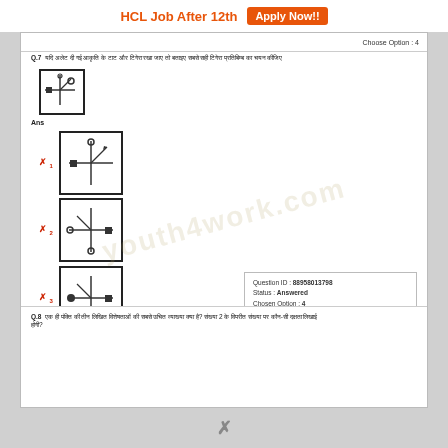HCL Job After 12th  Apply Now!!
Choose Option : 4
Q.7  यदि अलेट दी गई आकृति के टाट और टिगेरा रखा जाए तो बताइए सबसे सही टिगेरा प्रतिबिम्ब का चयन कीजिए
[Figure (illustration): Small square box showing a cross/arrow diagram with a filled square at left and circle at top-right]
Ans
✗ 1 - Option 1: cross diagram with square at left, arrow at top-right (Wrong)
✗ 2 - Option 2: cross diagram with square at right, circle at bottom (Wrong)
✗ 3 - Option 3: cross diagram with filled circle at left, square at right, circle at bottom (Wrong)
✓ 4 - Option 4: cross diagram with circle at left, square at right, circle at bottom (Correct)
| Field | Value |
| --- | --- |
| Question ID : | 88958013798 |
| Status : | Answered |
| Chosen Option : | 4 |
Q.8  एक ही पंक्ति की तीन लिखित विशेषताओं की सबसे उचित व्याख्या क्या है? संख्या 2 के विपरीत संख्या पर कौन-सी दक्षता लिखाई होगी?